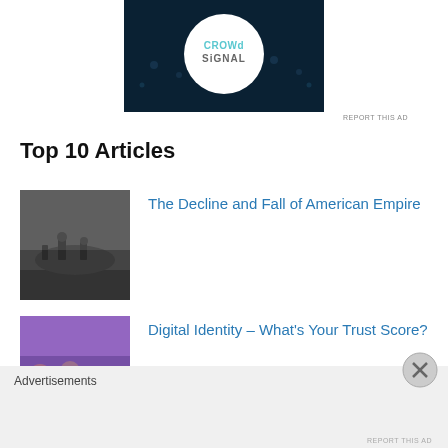[Figure (logo): Crowd Signal logo on dark navy background with white circle]
REPORT THIS AD
Top 10 Articles
[Figure (photo): Black and white photo of soldiers or figures in a war/desolate landscape]
The Decline and Fall of American Empire
[Figure (photo): Colorful blurry photo of a crowded city street with lights]
Digital Identity – What's Your Trust Score?
Advertisements
REPORT THIS AD